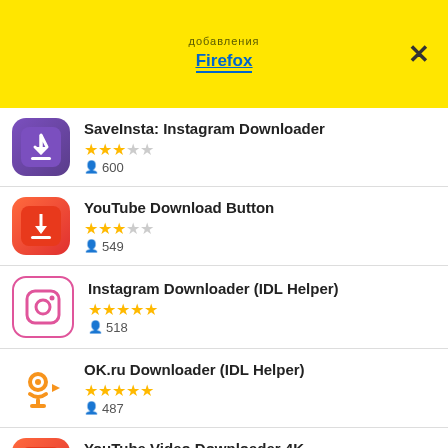добавления Firefox
SaveInsta: Instagram Downloader, 2 stars, 600 users
YouTube Download Button, 2.5 stars, 549 users
Instagram Downloader (IDL Helper), 4 stars, 518 users
OK.ru Downloader (IDL Helper), 4 stars, 487 users
YouTube Video Downloader 4K, 5 stars, 484 users